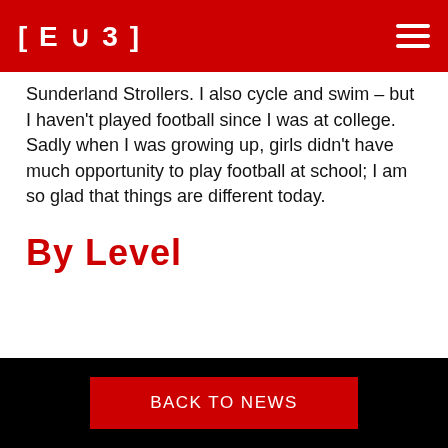[LEV3] (Level logo)
Sunderland Strollers. I also cycle and swim – but I haven't played football since I was at college. Sadly when I was growing up, girls didn't have much opportunity to play football at school; I am so glad that things are different today.
By Level
BACK TO NEWS